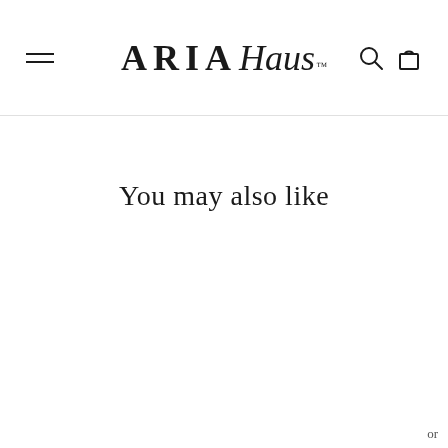ARIA Haus™
You may also like
or